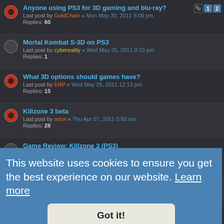Anyone using PS3 for 3D gaming and blu-ray? Last post by GoldChain « Mon May 30, 2011 8:09 pm Replies: 60
Mortal Kombat S-3D on PS3 Last post by cybereality « Wed May 25, 2011 9:23 pm Replies: 1
What 3D options should games have? Last post by ERP « Wed May 25, 2011 12:13 pm Replies: 15
Killzone 3 beta Last post by artox « Thu Apr 07, 2011 5:50 am Replies: 28
Game Review: Killzone 3 (PS3) Last post by artox « Thu Apr 07, 2011 5:20 am Replies: 2
Samsung HL67A750 + 3DC-100s = HOLY 3D AWESOMENESS BATMAN Last post by cybereality «
Last post by mayoman « Replies: 2
Nintendo 3DS Last post by Likay « Replies: 19
This website uses cookies to ensure you get the best experience on our website. Learn more
Got it!